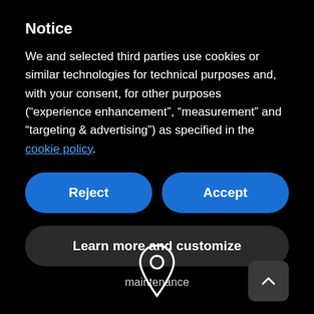Notice
We and selected third parties use cookies or similar technologies for technical purposes and, with your consent, for other purposes (“experience enhancement”, “measurement” and “targeting & advertising”) as specified in the cookie policy.
Reject
Accept
Learn more and customize
maintenance
[Figure (illustration): Location pin / map marker icon in white outline]
[Figure (illustration): Dark rounded square button with upward chevron arrow]